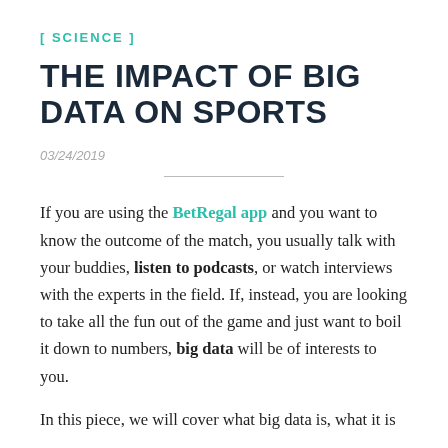[ SCIENCE ]
THE IMPACT OF BIG DATA ON SPORTS
03/24/2019
If you are using the BetRegal app and you want to know the outcome of the match, you usually talk with your buddies, listen to podcasts, or watch interviews with the experts in the field. If, instead, you are looking to take all the fun out of the game and just want to boil it down to numbers, big data will be of interests to you.
In this piece, we will cover what big data is, what it is